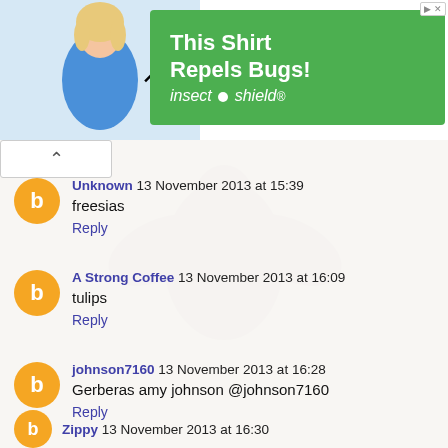[Figure (photo): Advertisement banner: woman in blue shirt with arrow pointing to shirt, green background with text 'This Shirt Repels Bugs! insect shield']
Unknown 13 November 2013 at 15:39
freesias
Reply
A Strong Coffee 13 November 2013 at 16:09
tulips
Reply
johnson7160 13 November 2013 at 16:28
Gerberas amy johnson @johnson7160
Reply
Zippy 13 November 2013 at 16:30